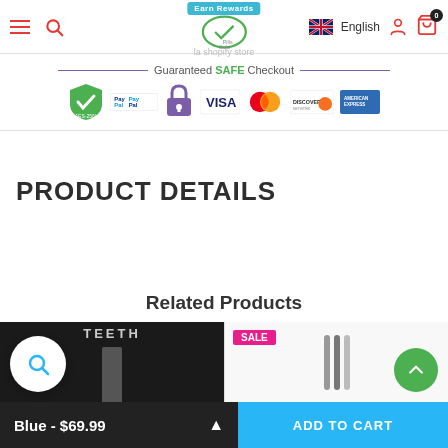Earn Rewards | shopify store | English | Cart 0
[Figure (infographic): Guaranteed SAFE Checkout banner with payment icons: AES-256 secure shield, PayPal, SSL padlock, VISA, MasterCard, Discover, American Express]
PRODUCT DETAILS
Related Products
[Figure (photo): Related product left image - dark background product photo with text TEETH visible]
[Figure (photo): Related product right image - white background product photo with SALE badge]
Blue - $69.99  |  ADD TO CART